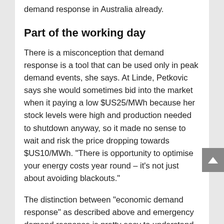demand response in Australia already.
Part of the working day
There is a misconception that demand response is a tool that can be used only in peak demand events, she says. At Linde, Petkovic says she would sometimes bid into the market when it paying a low $US25/MWh because her stock levels were high and production needed to shutdown anyway, so it made no sense to wait and risk the price dropping towards $US10/MWh. “There is opportunity to optimise your energy costs year round – it’s not just about avoiding blackouts.”
The distinction between “economic demand response” as described above and emergency demand response is pretty easy to understand, but for any demand response to work there needs to be a proper market. If one takes the view demand response is a form of generation, then a functioning and flexible market